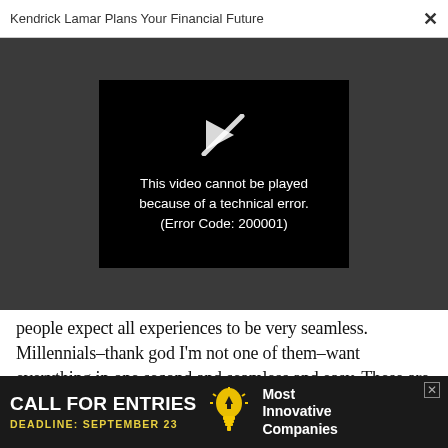Kendrick Lamar Plans Your Financial Future  ×
[Figure (screenshot): Video player showing error message: 'This video cannot be played because of a technical error. (Error Code: 200001)' on black background, embedded in dark gray overlay area.]
people expect all experiences to be very seamless. Millennials–thank god I'm not one of them–want everything in one second and seamless and easy. These are challenges that designers are facing in a very positive way.
[Figure (infographic): Advertisement banner with dark background. Text reads: CALL FOR ENTRIES DEADLINE: SEPTEMBER 23. Light bulb icon. Most Innovative Companies.]